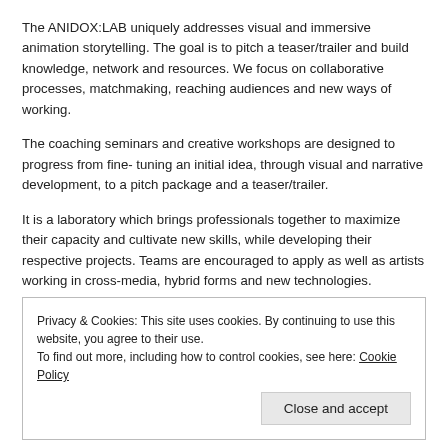The ANIDOX:LAB uniquely addresses visual and immersive animation storytelling. The goal is to pitch a teaser/trailer and build knowledge, network and resources. We focus on collaborative processes, matchmaking, reaching audiences and new ways of working.
The coaching seminars and creative workshops are designed to progress from fine- tuning an initial idea, through visual and narrative development, to a pitch package and a teaser/trailer.
It is a laboratory which brings professionals together to maximize their capacity and cultivate new skills, while developing their respective projects. Teams are encouraged to apply as well as artists working in cross-media, hybrid forms and new technologies.
Privacy & Cookies: This site uses cookies. By continuing to use this website, you agree to their use. To find out more, including how to control cookies, see here: Cookie Policy